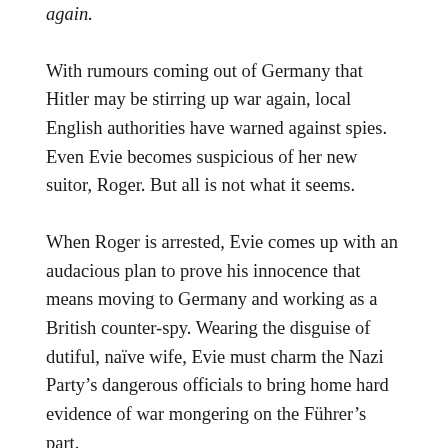again.
With rumours coming out of Germany that Hitler may be stirring up war again, local English authorities have warned against spies. Even Evie becomes suspicious of her new suitor, Roger. But all is not what it seems.
When Roger is arrested, Evie comes up with an audacious plan to prove his innocence that means moving to Germany and working as a British counter-spy. Wearing the disguise of dutiful, naïve wife, Evie must charm the Nazi Party's dangerous officials to bring home hard evidence of war mongering on the Führer's part.
But in this game of cat and mouse, it seems everyone